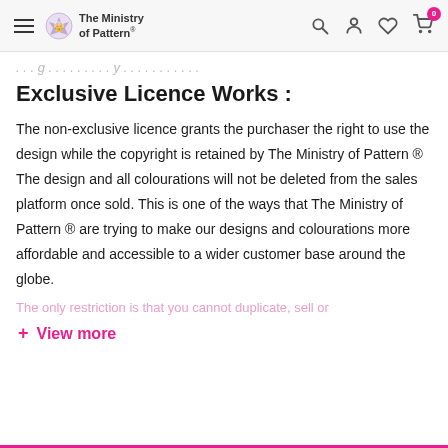The Ministry of Pattern
...g...y...
Exclusive Licence Works :
The non-exclusive licence grants the purchaser the right to use the design while the copyright is retained by The Ministry of Pattern ® The design and all colourations will not be deleted from the sales platform once sold. This is one of the ways that The Ministry of Pattern ® are trying to make our designs and colourations more affordable and accessible to a wider customer base around the globe.
The only restriction is that you cannot duplicate, sell or
+ View more